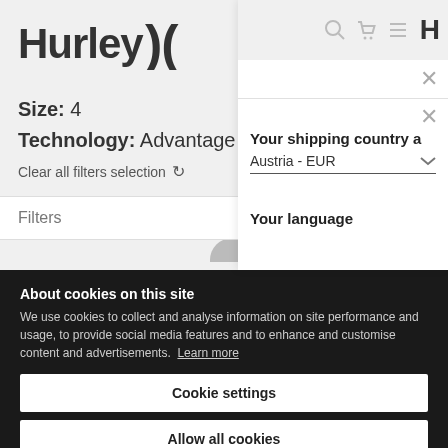[Figure (screenshot): Hurley website screenshot showing filters panel with Size: 4 and Technology: Advantage filters applied, a 'Clear all filters selection' option, a Filters bar, and an overlay panel showing shipping country (Austria - EUR) and language selector. A cookie consent banner covers the lower portion of the page with buttons for 'Cookie settings' and 'Allow all cookies'.]
Size: 4
Technology: Advantage
Clear all filters selection
Filters
Featured
Your shipping country a
Austria - EUR
Your language
About cookies on this site
We use cookies to collect and analyse information on site performance and usage, to provide social media features and to enhance and customise content and advertisements. Learn more
Cookie settings
Allow all cookies